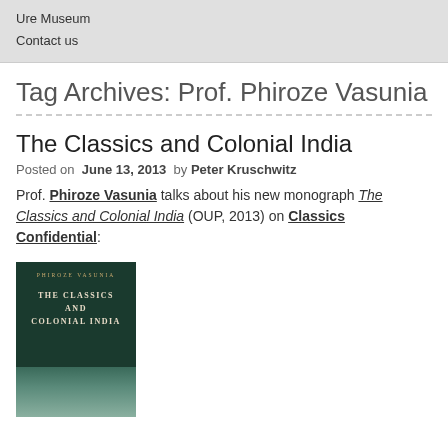Ure Museum
Contact us
Tag Archives: Prof. Phiroze Vasunia
The Classics and Colonial India
Posted on June 13, 2013 by Peter Kruschwitz
Prof. Phiroze Vasunia talks about his new monograph The Classics and Colonial India (OUP, 2013) on Classics Confidential:
[Figure (photo): Book cover of 'The Classics and Colonial India' by Phiroze Vasunia, published by OUP. Dark green background with gold author name 'PHIROZE VASUNIA' at top, followed by white title 'THE CLASSICS AND COLONIAL INDIA' in large letters, with a partial portrait image at the bottom.]